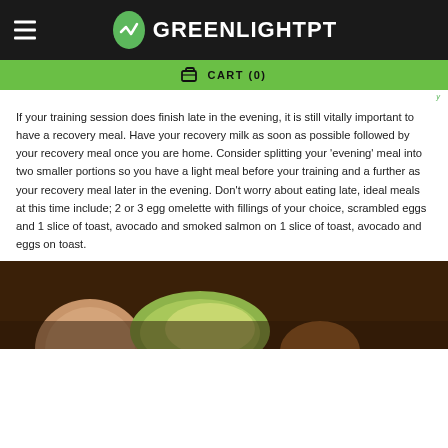GREENLIGHTPT
CART (0)
If your training session does finish late in the evening, it is still vitally important to have a recovery meal. Have your recovery milk as soon as possible followed by your recovery meal once you are home. Consider splitting your ‘evening’ meal into two smaller portions so you have a light meal before your training and a further as your recovery meal later in the evening. Don’t worry about eating late, ideal meals at this time include; 2 or 3 egg omelette with fillings of your choice, scrambled eggs and 1 slice of toast, avocado and smoked salmon on 1 slice of toast, avocado and eggs on toast.
[Figure (photo): Close-up photo of eggs and avocado on a wooden surface, partial view at bottom of page]